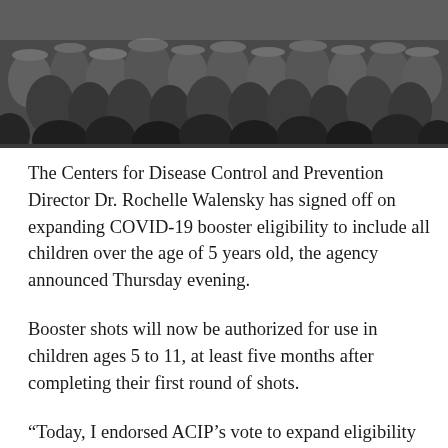[Figure (photo): Black and white photograph of a crowd of people, showing many heads and hats from above or at eye level, densely packed.]
The Centers for Disease Control and Prevention Director Dr. Rochelle Walensky has signed off on expanding COVID-19 booster eligibility to include all children over the age of 5 years old, the agency announced Thursday evening.
Booster shots will now be authorized for use in children ages 5 to 11, at least five months after completing their first round of shots.
“Today, I endorsed ACIP’s vote to expand eligibility for COVID-19 vaccine booster doses. Children 5 through 11 should receive a booster dose at least 5 months after their primary series. Vaccination with a primary series...